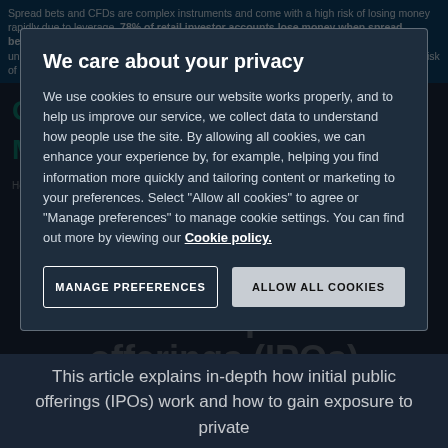Spread bets and CFDs are complex instruments and come with a high risk of losing money rapidly due to leverage. 78% of retail investor accounts lose money when spread betting and/or trading CFDs with this provider. You should consider whether you understand how spread bets and CFDs work and whether you can afford to take the high risk of losing your money.
We care about your privacy
We use cookies to ensure our website works properly, and to help us improve our service, we collect data to understand how people use the site. By allowing all cookies, we can enhance your experience by, for example, helping you find information more quickly and tailoring content or marketing to your preferences. Select “Allow all cookies” to agree or “Manage preferences” to manage cookie settings. You can find out more by viewing our Cookie policy.
MANAGE PREFERENCES
ALLOW ALL COOKIES
A complete guide to initial public offerings (IPOs)
This article explains in-depth how initial public offerings (IPOs) work and how to gain exposure to private